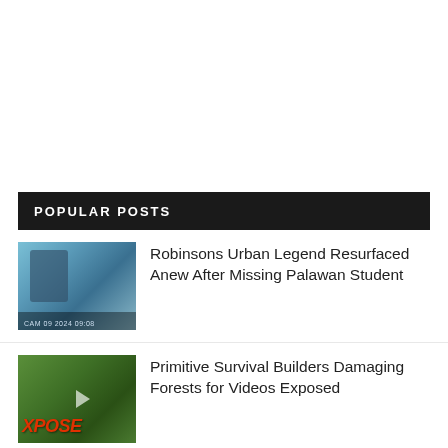POPULAR POSTS
Robinsons Urban Legend Resurfaced Anew After Missing Palawan Student
Primitive Survival Builders Damaging Forests for Videos Exposed
Lance Gokongwei Speaks Up on Robinsons Taong Ahas Urban Legend